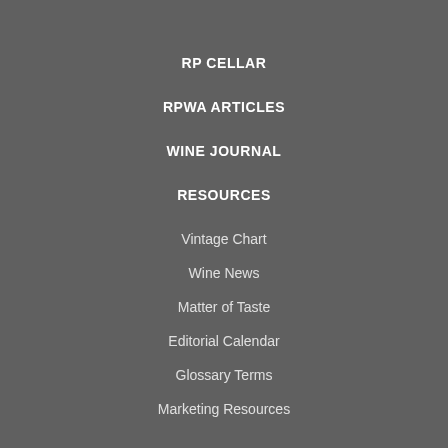RP CELLAR
RPWA ARTICLES
WINE JOURNAL
RESOURCES
Vintage Chart
Wine News
Matter of Taste
Editorial Calendar
Glossary Terms
Marketing Resources
ABOUT US
About The Wine Advocate
The Wine Advocate Reports & Wine Reviews